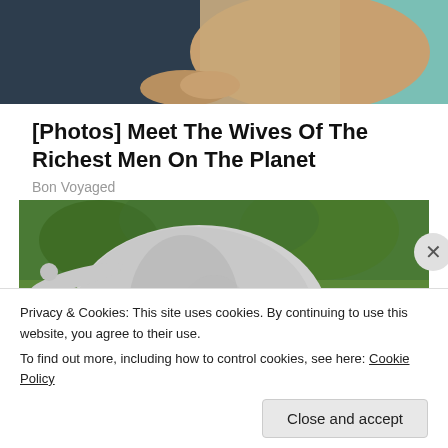[Figure (photo): Partial view of two people sitting side by side — man in dark pants on left, woman in lace/textured top on right, with teal chair visible]
[Photos] Meet The Wives Of The Richest Men On The Planet
Bon Voyaged
[Figure (photo): A large overweight bulldog-type dog standing on grass, viewed from behind and side, with green foliage background]
Privacy & Cookies: This site uses cookies. By continuing to use this website, you agree to their use.
To find out more, including how to control cookies, see here: Cookie Policy
Close and accept